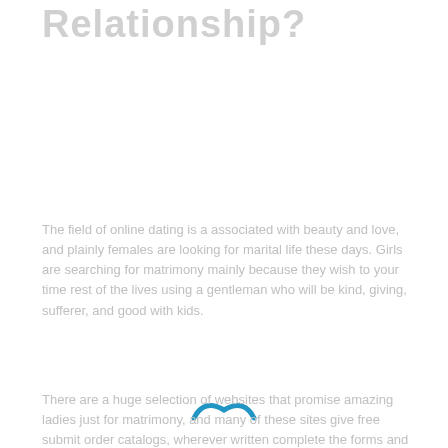Relationship?
The field of online dating is a associated with beauty and love, and plainly females are looking for marital life these days. Girls are searching for matrimony mainly because they wish to your time rest of the lives using a gentleman who will be kind, giving, sufferer, and good with kids.
There are a huge selection of websites that promise amazing ladies just for matrimony, and many of these sites give free submit order catalogs, wherever written complete the forms and mail the directory returning to the. These postal mail purchase catalogues contain single profiles of ladies with regards to marriage. Several women are actually proper girls trying to find marital relationship, and many are totally impersonators.
Sad to say, these mail order offerings usually do not give a quality services. You will find 1000s of ladies in search of marriage and they are not in a position to find the right person on their behalf. These ladies need to have a real guy who will cherish them and offer them with care and attention.